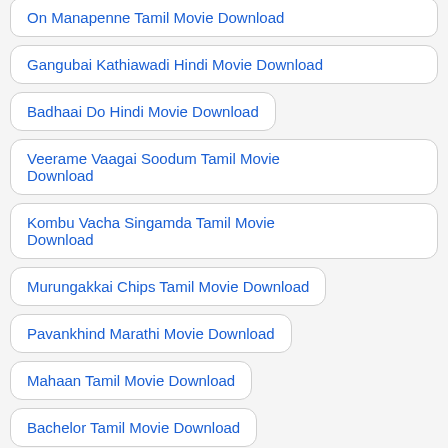On Manapenne Tamil Movie Download
Gangubai Kathiawadi Hindi Movie Download
Badhaai Do Hindi Movie Download
Veerame Vaagai Soodum Tamil Movie Download
Kombu Vacha Singamda Tamil Movie Download
Murungakkai Chips Tamil Movie Download
Pavankhind Marathi Movie Download
Mahaan Tamil Movie Download
Bachelor Tamil Movie Download